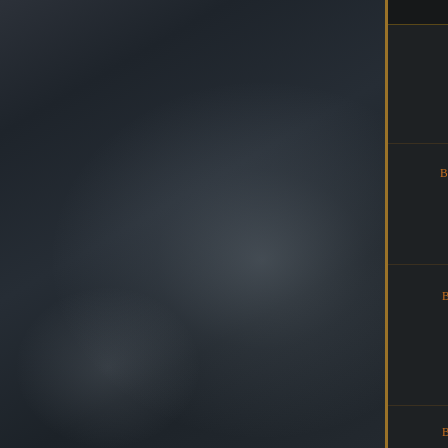[Figure (screenshot): Dark smoky background panel on the left side of the screen, typical of a game UI]
| Name | Stat |
| --- | --- |
| Bow Accuracy | 15% increased Accuracy Rating with Bows |
| Bow Area of Effect | 12% increased Area of Effect while wielding a Bow |
| Bow Attack Speed and Accuracy | 4% increased Attack Speed with Bows
8% increased Accuracy Rating with Bows |
| Bow Attack Speed and Phasing | 4% increased Attack Speed with Bows
8% chance to |